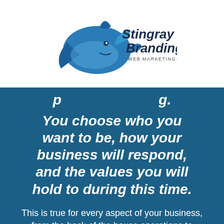[Figure (logo): Stingray Branding logo with a blue stingray/shark graphic and text 'Stingray Branding WEB·MARKETING·DESIGN']
You choose who you want to be, how your business will respond, and the values you will hold to during this time.
This is true for every aspect of your business, from the back of the house operations to customer service and messaging. Is this a scary time for business owners? Absolutely, but you can decide how you will respond to the crisis facing you. The KLH Group is a phenomenal event production company in